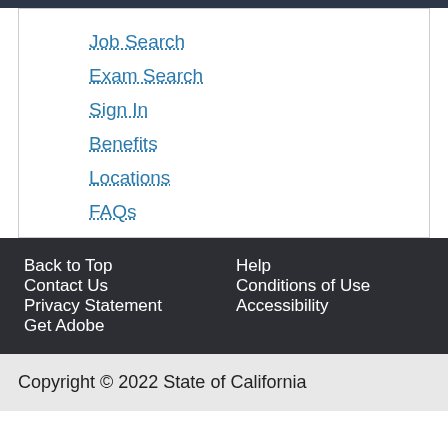Job Search
Exam Search
Sign In
Benefits
Locations
FAQs
Back to Top
Help
Contact Us
Conditions of Use
Privacy Statement
Accessibility
Get Adobe
Copyright © 2022 State of California